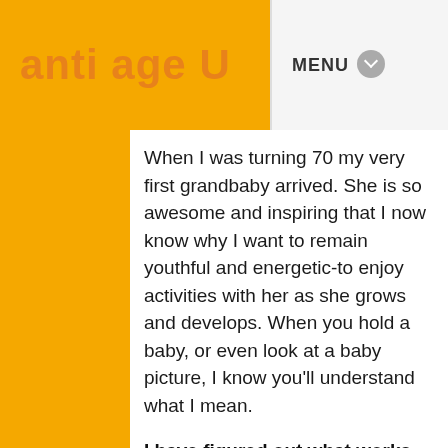anti age U   MENU
When I was turning 70 my very first grandbaby arrived. She is so awesome and inspiring that I now know why I want to remain youthful and energetic-to enjoy activities with her as she grows and develops. When you hold a baby, or even look at a baby picture, I know you'll understand what I mean.
I have figured out what works to slow, stop and even reverse aging, and I want to share it with you so that you can do it too, and even pass it along to your